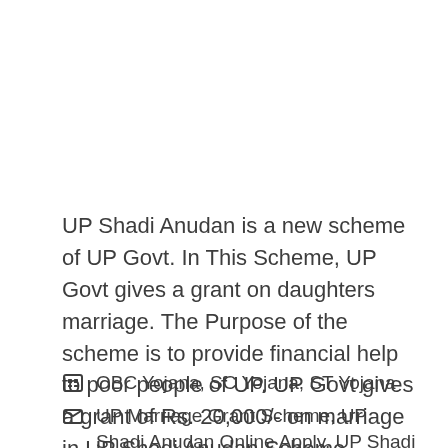UP Shadi Anudan is a new scheme of UP Govt. In This Scheme, UP Govt gives a grant on daughters marriage. The Purpose of the scheme is to provide financial help to poor people of UP. UP Govt gives a grant of Rs. 20,000/- on marriage in UP Shadi Anudan Scheme. Online Yojana will help … Read more
OBC Yojana, SC Yojana, ST Yojana
UP Marriage Grant Scheme, UP Shadi Anudan Online Apply, UP Shadi Anudan